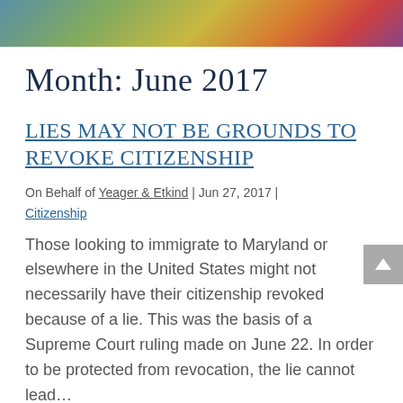[Figure (photo): Partial banner photo at top of page showing people, cropped]
Month: June 2017
Lies may not be grounds to revoke citizenship
On Behalf of Yeager & Etkind | Jun 27, 2017 | Citizenship
Those looking to immigrate to Maryland or elsewhere in the United States might not necessarily have their citizenship revoked because of a lie. This was the basis of a Supreme Court ruling made on June 22. In order to be protected from revocation, the lie cannot lead…